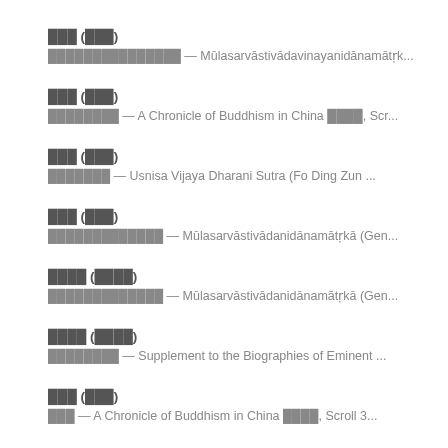███ (███)
███████████████ — Mūlasarvāstivādavinayanidānamātṛk...
███ (███)
████████ — A Chronicle of Buddhism in China ████, Scr...
███ (███)
███████ — Usnisa Vijaya Dharani Sutra (Fo Ding Zun ...
███ (███)
█████████████ — Mūlasarvāstivādanidānamātṛkā (Gen...
████ (████)
█████████████ — Mūlasarvāstivādanidānamātṛkā (Gen...
████ (████)
████████ — Supplement to the Biographies of Eminent ...
███ (███)
███ — A Chronicle of Buddhism in China ████, Scroll 3...